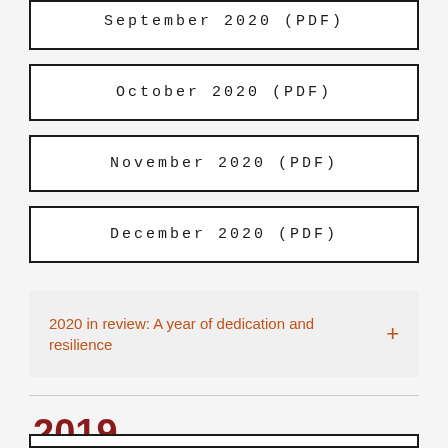September 2020 (PDF)
October 2020 (PDF)
November 2020 (PDF)
December 2020 (PDF)
2020 in review: A year of dedication and resilience +
2019
(partial box at bottom)